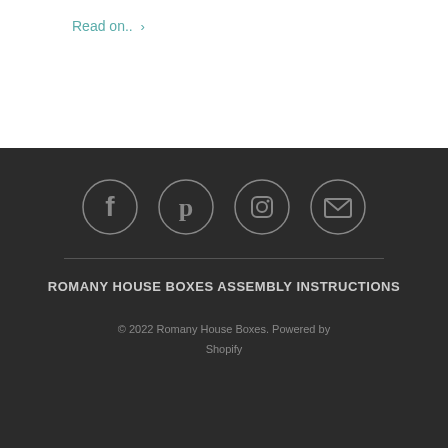Read on.. ›
[Figure (infographic): Four circular social media icons in a row: Facebook, Pinterest, Instagram, and Email/Mail, rendered in gray on dark background]
ROMANY HOUSE BOXES ASSEMBLY INSTRUCTIONS
© 2022 Romany House Boxes. Powered by Shopify